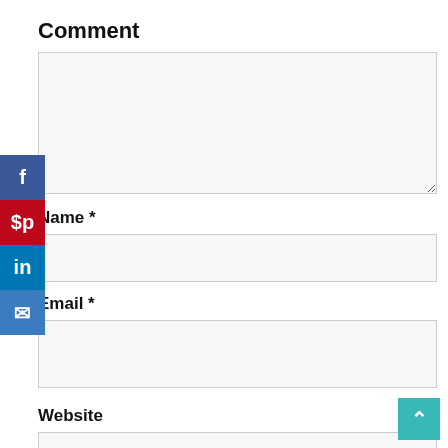Comment
[Figure (screenshot): Comment textarea input box (empty, light gray background)]
Name *
[Figure (screenshot): Name input field (empty, light gray background)]
Email *
[Figure (screenshot): Email input field (empty, light gray background)]
Website
[Figure (screenshot): Website input field (empty, light gray background)]
[Figure (infographic): Social media sidebar with Facebook, Pinterest, LinkedIn, and Email share buttons]